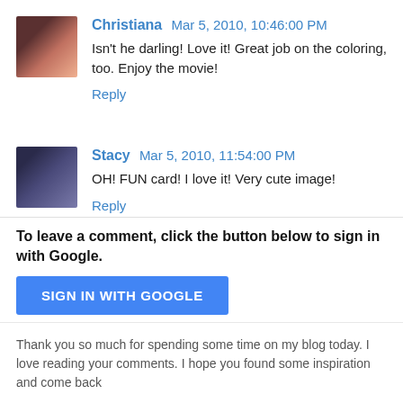[Figure (photo): Avatar photo of Christiana, a woman with dark hair]
Christiana Mar 5, 2010, 10:46:00 PM
Isn't he darling! Love it! Great job on the coloring, too. Enjoy the movie!
Reply
[Figure (photo): Avatar photo of Stacy, a woman in dark clothing]
Stacy Mar 5, 2010, 11:54:00 PM
OH! FUN card! I love it! Very cute image!
Reply
To leave a comment, click the button below to sign in with Google.
SIGN IN WITH GOOGLE
Thank you so much for spending some time on my blog today. I love reading your comments. I hope you found some inspiration and come back